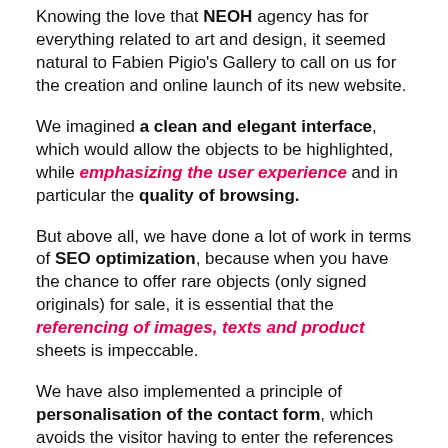Knowing the love that NEOH agency has for everything related to art and design, it seemed natural to Fabien Pigio's Gallery to call on us for the creation and online launch of its new website.
We imagined a clean and elegant interface, which would allow the objects to be highlighted, while emphasizing the user experience and in particular the quality of browsing.
But above all, we have done a lot of work in terms of SEO optimization, because when you have the chance to offer rare objects (only signed originals) for sale, it is essential that the referencing of images, texts and product sheets is impeccable.
We have also implemented a principle of personalisation of the contact form, which avoids the visitor having to enter the references of the object or piece of furniture he is interested in: he just has to click on the price request button and our